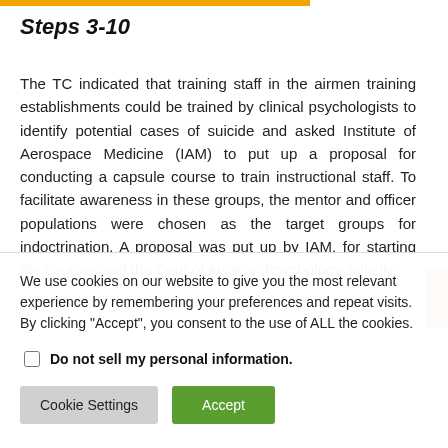Steps 3-10
The TC indicated that training staff in the airmen training establishments could be trained by clinical psychologists to identify potential cases of suicide and asked Institute of Aerospace Medicine (IAM) to put up a proposal for conducting a capsule course to train instructional staff. To facilitate awareness in these groups, the mentor and officer populations were chosen as the target groups for indoctrination. A proposal was put up by IAM, for starting the courses and the Dept of Aviation Psychology, initially
We use cookies on our website to give you the most relevant experience by remembering your preferences and repeat visits. By clicking "Accept", you consent to the use of ALL the cookies.
Do not sell my personal information.